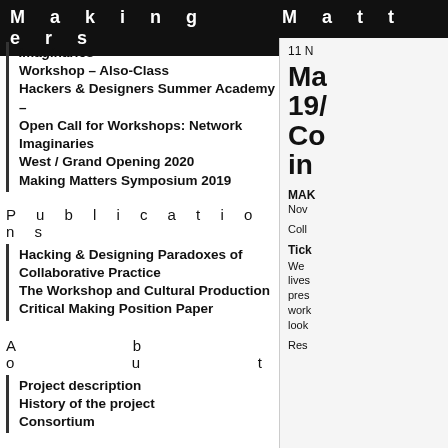M a k i n g   M a t t e r s
Imaginaries
Workshop – Also-Class
Hackers & Designers Summer Academy – Open Call for Workshops: Network Imaginaries
West / Grand Opening 2020
Making Matters Symposium 2019
P u b l i c a t i o n s
Hacking & Designing Paradoxes of Collaborative Practice
The Workshop and Cultural Production
Critical Making Position Paper
A b o u t
Project description
History of the project
Consortium
11 N
Ma 19/ Co in
MAK Nov
Coll
Tick
We lives pres work look
Res